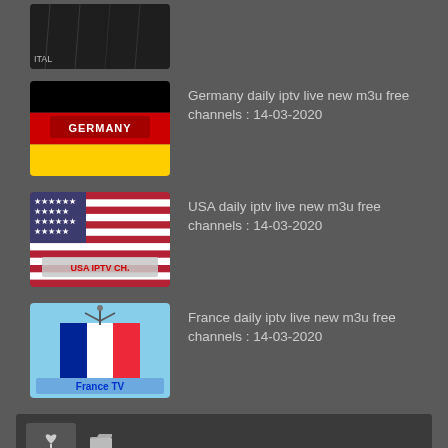[Figure (screenshot): Thumbnail image of Italy TV content partially visible at top]
Germany daily iptv live new m3u free channels : 14-03-2020
USA daily iptv live new m3u free channels : 14-03-2020
France daily iptv live new m3u free channels : 14-03-2020
[Figure (infographic): Sidebar box with tag icon and folder icon]
england iptv Ex-yu free iptv France daily iptv m3u France free iptv France free iptv m3u france iptv m3u France new iptv France new iptv free France